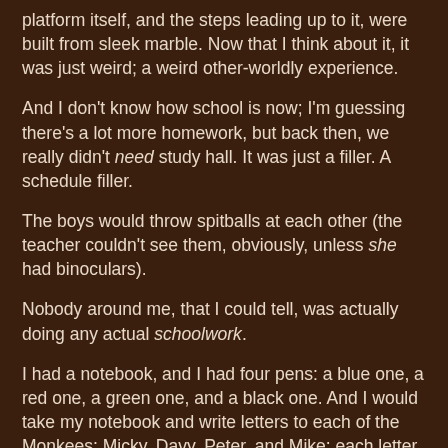platform itself, and the steps leading up to it, were built from sleek marble.  Now that I think about it, it was just weird; a weird other-worldly experience.
And I don't know how school is now; I'm guessing there's a lot more homework, but back then, we really didn't need study hall.  It was just a filler.  A schedule filler.
The boys would throw spitballs at each other (the teacher couldn't see them, obviously, unless she had binoculars).
Nobody around me, that I could tell, was actually doing any actual schoolwork.
I had a notebook, and I had four pens:  a blue one, a red one, a green one, and a black one.  And I would take my notebook and write letters to each of the Monkees; Micky, Davy, Peter, and Mike; each letter in a different colored ink.
I would write letters to them as if we were friends.  As if we were just shooting the breeze.